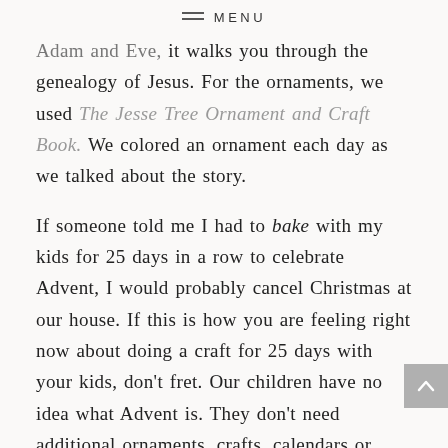≡ MENU
Adam and Eve, it walks you through the genealogy of Jesus. For the ornaments, we used The Jesse Tree Ornament and Craft Book. We colored an ornament each day as we talked about the story.
If someone told me I had to bake with my kids for 25 days in a row to celebrate Advent, I would probably cancel Christmas at our house. If this is how you are feeling right now about doing a craft for 25 days with your kids, don't fret. Our children have no idea what Advent is. They don't need additional ornaments, crafts, calendars or